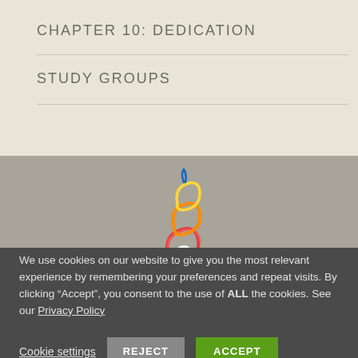CHAPTER 10: DEDICATION
STUDY GROUPS
[Figure (illustration): Colorful swirling decorative logo with a hand gesture in the center, multi-colored swirls in red, orange, yellow, green, blue]
We use cookies on our website to give you the most relevant experience by remembering your preferences and repeat visits. By clicking “Accept”, you consent to the use of ALL the cookies. See our Privacy Policy
Cookie settings  REJECT  ACCEPT